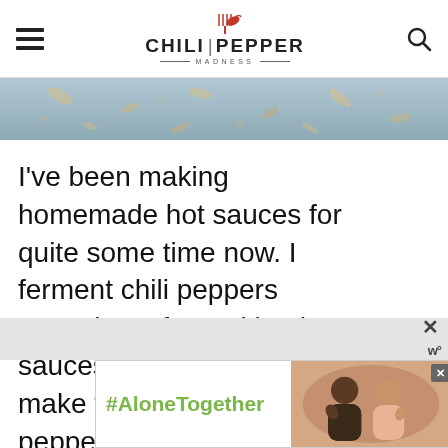Chili Pepper Madness
[Figure (photo): Top portion of a food/spice hero image with muted blue-grey and golden tones]
I've been making homemade hot sauces for quite some time now. I ferment chili peppers sometimes for making hot sauces and sometimes make them from fresh peppers plucked straight from the garden
[Figure (infographic): Social share sidebar with heart icon showing 455 saves and share icon]
[Figure (infographic): What's Next widget showing Homemade Louisiana H... with thumbnail]
[Figure (screenshot): Advertisement banner showing #AloneTogether with photo of couple]
[Figure (other): Ad close X button and weather widget at bottom right]